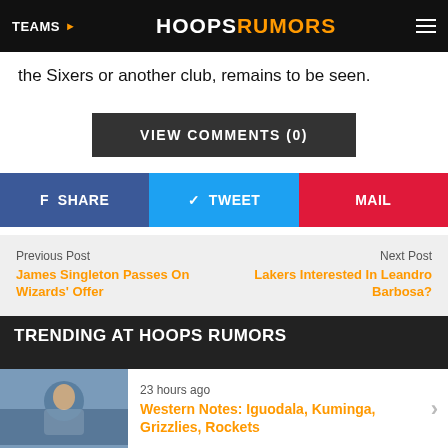TEAMS ▶  HOOPSRUMORS
the Sixers or another club, remains to be seen.
VIEW COMMENTS (0)
f SHARE   TWEET   MAIL
Previous Post
James Singleton Passes On Wizards' Offer
Next Post
Lakers Interested In Leandro Barbosa?
TRENDING AT HOOPS RUMORS
23 hours ago
Western Notes: Iguodala, Kuminga, Grizzlies, Rockets
ADVERTISEMENT